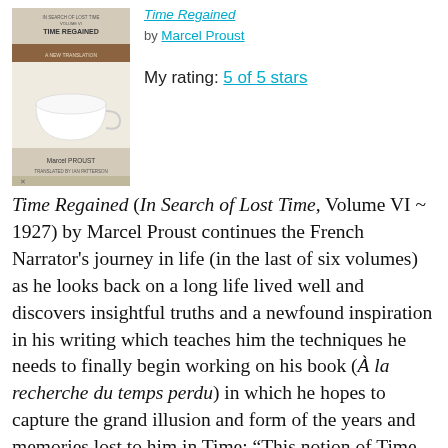[Figure (photo): Book cover of 'Time Regained' by Marcel Proust (In Search of Lost Time, Volume VI), showing a white cup or bowl object on a pale background with the author's name Marcel Proust at the bottom.]
Time Regained by Marcel Proust
My rating: 5 of 5 stars
Time Regained (In Search of Lost Time, Volume VI ~ 1927) by Marcel Proust continues the French Narrator's journey in life (in the last of six volumes) as he looks back on a long life lived well and discovers insightful truths and a newfound inspiration in his writing which teaches him the techniques he needs to finally begin working on his book (À la recherche du temps perdu) in which he hopes to capture the grand illusion and form of the years and memories lost to him in Time: “This notion of Time embodied, of years past but not separated from us, it was now my intention to emphasise as strongly as possible in my work” (Time Regained, Vol. VI, p 529).